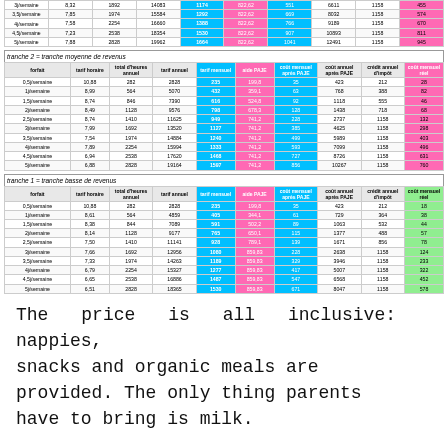| forfait | tarif horaire | total d'heures annuel | tarif annuel | tarif mensuel | aide PAJE | coût mensuel après PAJE | coût annuel après PAJE | crédit annuel d'impôt | coût mensuel réel |
| --- | --- | --- | --- | --- | --- | --- | --- | --- | --- |
| 3j/semaine | 8,32 | 1892 | 14083 | 1174 | 822,62 | 551 | 6611 | 1158 | 455 |
| 3,5j/semaine | 7,85 | 1974 | 15584 | 1292 | 822,62 | 669 | 8032 | 1158 | 574 |
| 4j/semaine | 7,58 | 2254 | 16660 | 1388 | 822,62 | 766 | 9189 | 1158 | 670 |
| 4,5j/semaine | 7,23 | 2538 | 18354 | 1530 | 822,62 | 907 | 10893 | 1158 | 811 |
| 5j/semaine | 7,88 | 2828 | 19962 | 1664 | 822,62 | 1041 | 12491 | 1158 | 945 |
tranche 2 = tranche moyenne de revenus
| forfait | tarif horaire | total d'heures annuel | tarif annuel | tarif mensuel | aide PAJE | coût mensuel après PAJE | coût annuel après PAJE | crédit annuel d'impôt | coût mensuel réel |
| --- | --- | --- | --- | --- | --- | --- | --- | --- | --- |
| 0,5j/semaine | 10,88 | 282 | 2828 | 238 | 199,8 | 35 | 423 | 212 | 28 |
| 1j/semaine | 8,99 | 564 | 5070 | 432 | 359,1 | 63 | 768 | 388 | 82 |
| 1,5j/semaine | 8,74 | 846 | 7390 | 616 | 524,8 | 92 | 1118 | 555 | 46 |
| 2j/semaine | 8,49 | 1128 | 9576 | 798 | 678,3 | 128 | 1438 | 718 | 68 |
| 2,5j/semaine | 8,74 | 1410 | 11625 | 949 | 741,2 | 228 | 2737 | 1158 | 132 |
| 3j/semaine | 7,99 | 1692 | 13520 | 1127 | 741,2 | 385 | 4625 | 1158 | 298 |
| 3,5j/semaine | 7,54 | 1974 | 14884 | 1240 | 741,2 | 499 | 5989 | 1158 | 403 |
| 4j/semaine | 7,89 | 2254 | 15994 | 1333 | 741,2 | 593 | 7099 | 1158 | 496 |
| 4,5j/semaine | 6,94 | 2538 | 17620 | 1468 | 741,2 | 727 | 8726 | 1158 | 631 |
| 5j/semaine | 6,88 | 2828 | 19164 | 1597 | 741,2 | 856 | 10267 | 1158 | 760 |
tranche 1 = tranche basse de revenus
| forfait | tarif horaire | total d'heures annuel | tarif annuel | tarif mensuel | aide PAJE | coût mensuel après PAJE | coût annuel après PAJE | crédit annuel d'impôt | coût mensuel réel |
| --- | --- | --- | --- | --- | --- | --- | --- | --- | --- |
| 0,5j/semaine | 10,88 | 282 | 2828 | 235 | 199,8 | 35 | 423 | 212 | 18 |
| 1j/semaine | 8,61 | 564 | 4859 | 405 | 344,1 | 61 | 729 | 364 | 38 |
| 1,5j/semaine | 8,38 | 844 | 7089 | 591 | 502,2 | 89 | 1063 | 532 | 44 |
| 2j/semaine | 8,14 | 1128 | 9177 | 765 | 650,1 | 115 | 1377 | 488 | 57 |
| 2,5j/semaine | 7,50 | 1410 | 11141 | 928 | 789,1 | 139 | 1671 | 856 | 78 |
| 3j/semaine | 7,66 | 1692 | 12956 | 1080 | 859,83 | 228 | 2638 | 1158 | 124 |
| 3,5j/semaine | 7,33 | 1974 | 14263 | 1189 | 859,83 | 329 | 3946 | 1158 | 233 |
| 4j/semaine | 6,79 | 2254 | 15327 | 1277 | 859,83 | 417 | 5007 | 1158 | 322 |
| 4,5j/semaine | 6,65 | 2538 | 16886 | 1487 | 859,83 | 547 | 6568 | 1158 | 452 |
| 5j/semaine | 6,51 | 2828 | 18365 | 1530 | 859,83 | 671 | 8047 | 1158 | 578 |
The price is all inclusive: nappies, snacks and organic meals are provided. The only thing parents have to bring is milk.